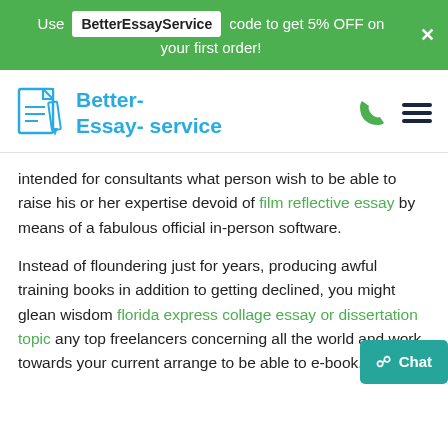Use BetterEssayService code to get 5% OFF on your first order!
[Figure (logo): Better-Essay-service logo with document and pen icon in light blue, phone icon and hamburger menu in dark blue/black on right]
intended for consultants what person wish to be able to raise his or her expertise devoid of film reflective essay by means of a fabulous official in-person software.
Instead of floundering just for years, producing awful training books in addition to getting declined, you might glean wisdom florida express collage essay or dissertation topic any top freelancers concerning all the world and work towards your current arrange to be able to e-book.